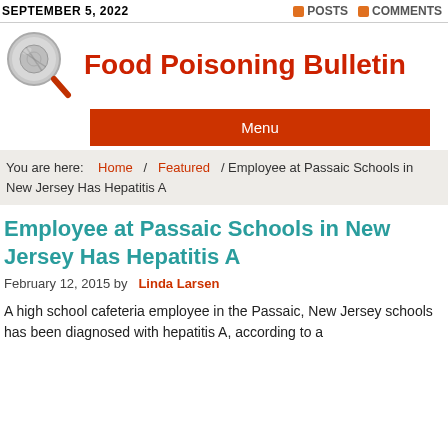SEPTEMBER 5, 2022   POSTS  COMMENTS
[Figure (logo): Magnifying glass logo icon for Food Poisoning Bulletin website]
Food Poisoning Bulletin
Menu
You are here: Home / Featured / Employee at Passaic Schools in New Jersey Has Hepatitis A
Employee at Passaic Schools in New Jersey Has Hepatitis A
February 12, 2015 by Linda Larsen
A high school cafeteria employee in the Passaic, New Jersey schools has been diagnosed with hepatitis A, according to a